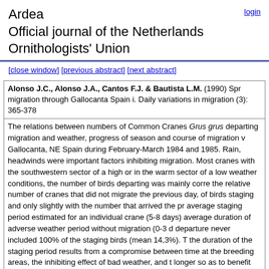Ardea
Official journal of the Netherlands Ornithologists' Union
[close window] [previous abstract] [next abstract]
Alonso J.C., Alonso J.A., Cantos F.J. & Bautista L.M. (1990) Spr migration through Gallocanta Spain i. Daily variations in migration (3): 365-378
The relations between numbers of Common Cranes Grus grus departing migration and weather, progress of season and course of migration Gallocanta, NE Spain during February-March 1984 and 1985. Rain, headwinds were important factors inhibiting migration. Most cranes with the southwestern sector of a high or in the warm sector of a low weather conditions, the number of birds departing was mainly correlated the relative number of cranes that did not migrate the previous day, of birds staging and only slightly with the number that arrived the previous day. The average staging period estimated for an individual crane (5-8 days) with average duration of adverse weather period without migration (0-3 days). Daily departure never included 100% of the staging birds (mean 14,3%). The duration of the staging period results from a compromise between time at the breeding areas, the inhibiting effect of bad weather, and to stay longer so as to benefit from favourable feeding conditions.